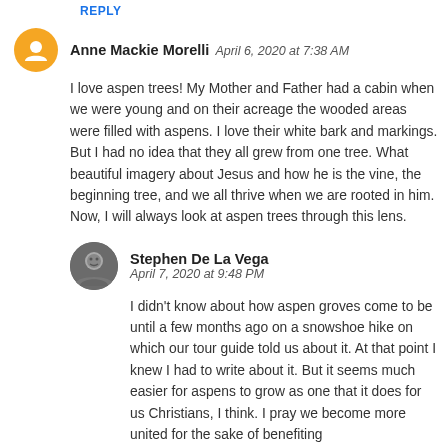REPLY
Anne Mackie Morelli   April 6, 2020 at 7:38 AM
I love aspen trees! My Mother and Father had a cabin when we were young and on their acreage the wooded areas were filled with aspens. I love their white bark and markings. But I had no idea that they all grew from one tree. What beautiful imagery about Jesus and how he is the vine, the beginning tree, and we all thrive when we are rooted in him. Now, I will always look at aspen trees through this lens.
Stephen De La Vega   April 7, 2020 at 9:48 PM
I didn't know about how aspen groves come to be until a few months ago on a snowshoe hike on which our tour guide told us about it. At that point I knew I had to write about it. But it seems much easier for aspens to grow as one that it does for us Christians, I think. I pray we become more united for the sake of benefiting